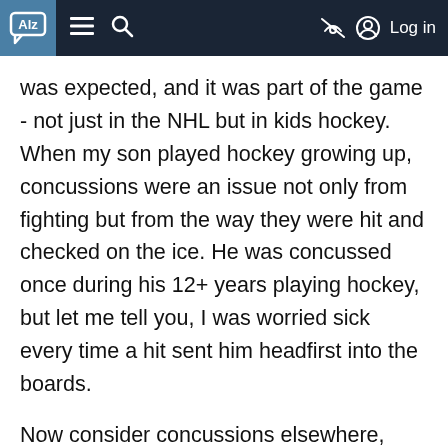ALZ [logo] ≡ 🔍 [no-eye icon] Log in
was expected, and it was part of the game - not just in the NHL but in kids hockey. When my son played hockey growing up, concussions were an issue not only from fighting but from the way they were hit and checked on the ice. He was concussed once during his 12+ years playing hockey, but let me tell you, I was worried sick every time a hit sent him headfirst into the boards.
Now consider concussions elsewhere, such as the extreme sports of today like boxing or mixed martial arts fighting. A kick or punch to the head is a concussion for sure. There are